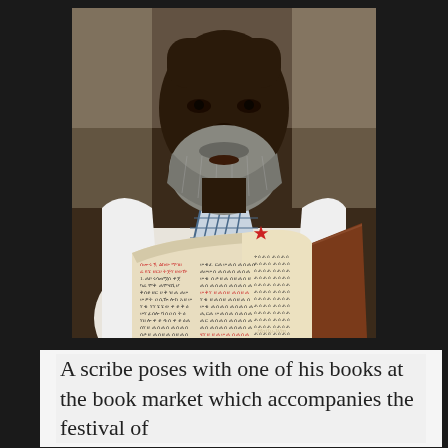[Figure (photo): A man with a grey beard holds open a book with Ethiopic (Ge'ez) script text, written in black and red ink on aged parchment pages. He wears a white robe and a plaid shirt underneath. The photo is a close-up portrait showing his face and the open manuscript.]
A scribe poses with one of his books at the book market which accompanies the festival of